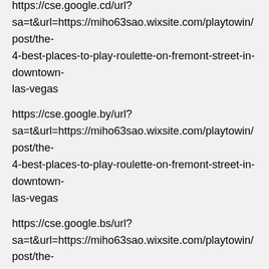https://cse.google.cd/url?sa=t&url=https://miho63sao.wixsite.com/playtowin/post/the-4-best-places-to-play-roulette-on-fremont-street-in-downtown-las-vegas
https://cse.google.by/url?sa=t&url=https://miho63sao.wixsite.com/playtowin/post/the-4-best-places-to-play-roulette-on-fremont-street-in-downtown-las-vegas
https://cse.google.bs/url?sa=t&url=https://miho63sao.wixsite.com/playtowin/post/the-4-best-places-to-play-roulette-on-fremont-street-in-downtown-las-vegas
https://cse.google.bi/url?sa=t&url=https://miho63sao.wixsite.com/playtowin/post/the-4-best-places-to-play-roulette-on-fremont-street-in-downtown-las-vegas